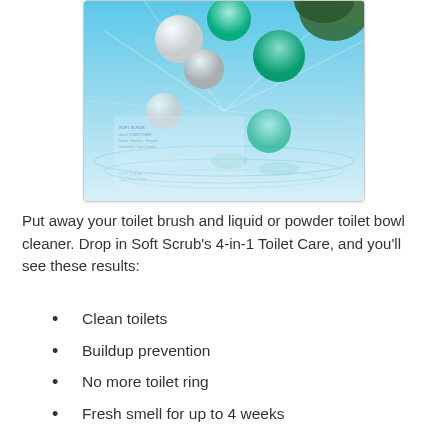[Figure (photo): Product image of Soft Scrub 4-in-1 Toilet Care showing green and white capsules/balls with water splashes against a blue background with plant foliage visible in corner.]
Put away your toilet brush and liquid or powder toilet bowl cleaner. Drop in Soft Scrub's 4-in-1 Toilet Care, and you'll see these results:
Clean toilets
Buildup prevention
No more toilet ring
Fresh smell for up to 4 weeks